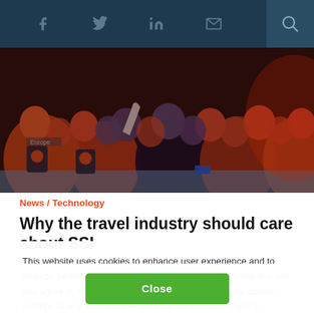Social nav bar with icons: Facebook, Twitter, LinkedIn, Email, Search
[Figure (photo): Audience at a travel industry conference event, people seated with backs to camera, wearing orange vests, dark atmospheric lighting]
News / Technology
Why the travel industry should care about SSI
This website uses cookies to enhance user experience and to analyze performance and traffic on our website. By using this site, you agree to the use of cookies. You may change your cookie settings at any time, but the site may not function properly.  Cookie Policy
Close